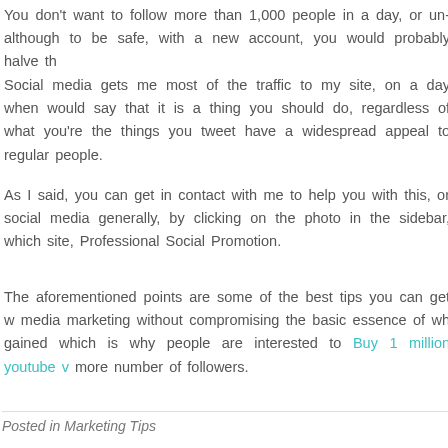You don't want to follow more than 1,000 people in a day, or un-although to be safe, with a new account, you would probably halve th
Social media gets me most of the traffic to my site, on a day when would say that it is a thing you should do, regardless of what you're the things you tweet have a widespread appeal to regular people.
As I said, you can get in contact with me to help you with this, or social media generally, by clicking on the photo in the sidebar, which site, Professional Social Promotion.
The aforementioned points are some of the best tips you can get w media marketing without compromising the basic essence of wh gained which is why people are interested to Buy 1 million youtube v more number of followers.
Posted in Marketing Tips